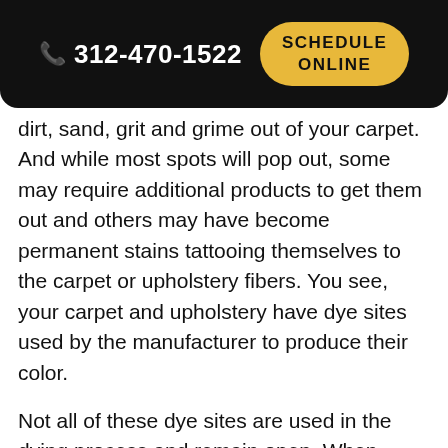312-470-1522  SCHEDULE ONLINE
dirt, sand, grit and grime out of your carpet. And while most spots will pop out, some may require additional products to get them out and others may have become permanent stains tattooing themselves to the carpet or upholstery fibers. You see, your carpet and upholstery have dye sites used by the manufacturer to produce their color.
Not all of these dye sites are used in the dying process and remain open. When anything enters these open dye sites it can permanently change the color of the carpet or upholstery. Applying Stainguard Protection helps prevent these dye sites from receiving new colors and is recommended for carpets and upholstery in good